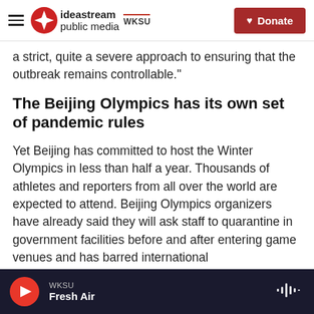ideastream public media | WKSU | Donate
a strict, quite a severe approach to ensuring that the outbreak remains controllable."
The Beijing Olympics has its own set of pandemic rules
Yet Beijing has committed to host the Winter Olympics in less than half a year. Thousands of athletes and reporters from all over the world are expected to attend. Beijing Olympics organizers have already said they will ask staff to quarantine in government facilities before and after entering game venues and has barred international
WKSU | Fresh Air